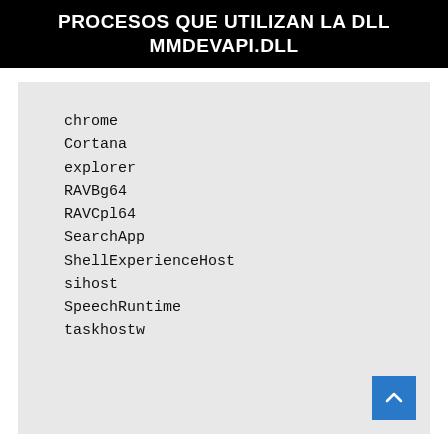PROCESOS QUE UTILIZAN LA DLL MMDEVAPI.DLL
chrome
Cortana
explorer
RAVBg64
RAVCpl64
SearchApp
ShellExperienceHost
sihost
SpeechRuntime
taskhostw